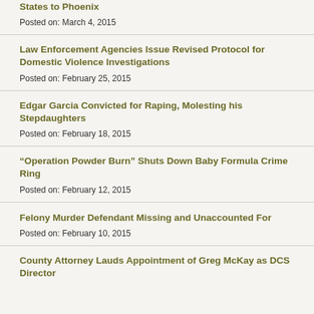States to Phoenix
Posted on: March 4, 2015
Law Enforcement Agencies Issue Revised Protocol for Domestic Violence Investigations
Posted on: February 25, 2015
Edgar Garcia Convicted for Raping, Molesting his Stepdaughters
Posted on: February 18, 2015
“Operation Powder Burn” Shuts Down Baby Formula Crime Ring
Posted on: February 12, 2015
Felony Murder Defendant Missing and Unaccounted For
Posted on: February 10, 2015
County Attorney Lauds Appointment of Greg McKay as DCS Director